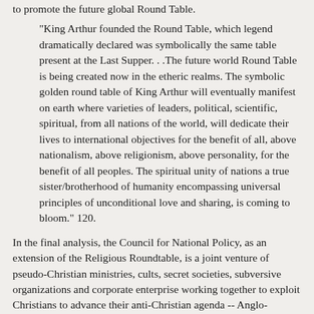to promote the future global Round Table.
"King Arthur founded the Round Table, which legend dramatically declared was symbolically the same table present at the Last Supper. . .The future world Round Table is being created now in the etheric realms. The symbolic golden round table of King Arthur will eventually manifest on earth where varieties of leaders, political, scientific, spiritual, from all nations of the world, will dedicate their lives to international objectives for the benefit of all, above nationalism, above religionism, above personality, for the benefit of all peoples. The spiritual unity of nations a true sister/brotherhood of humanity encompassing universal principles of unconditional love and sharing, is coming to bloom." 120.
In the final analysis, the Council for National Policy, as an extension of the Religious Roundtable, is a joint venture of pseudo-Christian ministries, cults, secret societies, subversive organizations and corporate enterprise working together to exploit Christians to advance their anti-Christian agenda -- Anglo-American imperialism and ultimately one world government under a one world religion -- their own. Revolutionaries have historically worked through religion, right-sounding causes and popular movements which recommend their utopian schemes as "the kingdom of God" on earth. They have never secured the ideal